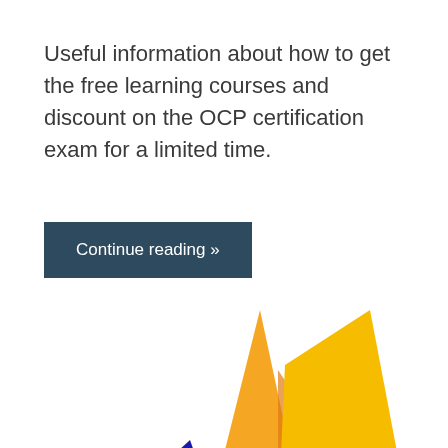Useful information about how to get the free learning courses and discount on the OCP certification exam for a limited time.
Continue reading »
[Figure (logo): Oracle-style logo with two flame/sail shapes in orange and amber, with a dark blue triangular element at the base left, partially cropped at bottom of page.]